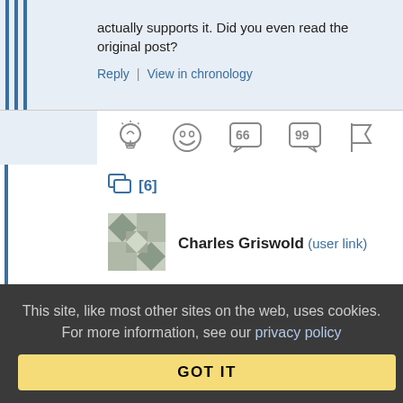actually supports it. Did you even read the original post?
Reply | View in chronology
[Figure (infographic): Row of 5 reaction/action icons: lightbulb, laughing face, open quote bubble, close quote bubble, flag]
[6]
[Figure (other): User avatar for Charles Griswold — geometric patterned grey/green square avatar]
Charles Griswold (user link)
May 4, 2007 at 2:18 am
Re: Re: Re³ Who's in control of the scarce...
This site, like most other sites on the web, uses cookies. For more information, see our privacy policy
GOT IT